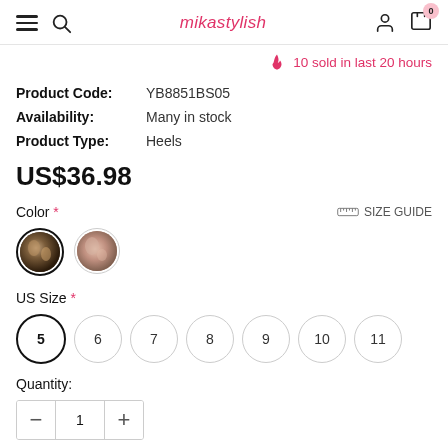mikastylish — navigation header with hamburger, search, logo, account, cart (0)
10 sold in last 20 hours
Product Code:  YB8851BS05
Availability:  Many in stock
Product Type:  Heels
US$36.98
Color *
SIZE GUIDE
US Size *
5  6  7  8  9  10  11
Quantity:
1